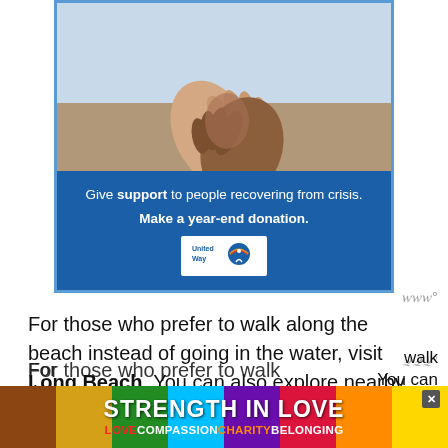[Figure (infographic): United Way charity advertisement showing two people holding hands (one lighter skin, one darker skin) with text 'Give support to people recovering from crisis. Make a year-end donation.' and United Way logo on blue background.]
For those who prefer to walk along the beach instead of going in the water, visit Long Beach. You can also explore nearby Pacific Rim National Park if you want to go hiking during one of the best active weekend getaways from Vancouver.
[Figure (infographic): Bottom banner ad with rainbow gradient background. Large white bold text 'STRENGTH IN LOVE'. Below: LOVE (red) COMPASSION (white) CHARITY (orange) BELONGING (white). Close button top right.]